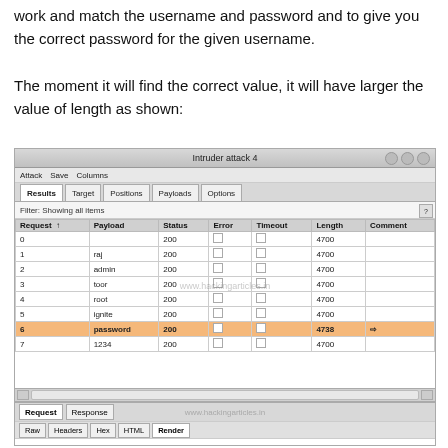work and match the username and password and to give you the correct password for the given username.

The moment it will find the correct value, it will have larger the value of length as shown:
[Figure (screenshot): Screenshot of Burp Suite Intruder attack 4 results table showing requests 0-7 with payloads including raj, admin, toor, root, ignite, password, 1234. Row 6 with payload 'password' is highlighted in orange with length 4738, while others show 4700. Bottom section shows Request/Response tabs with Raw/Headers/Hex/HTML/Render tabs and a form with Username and Password fields.]